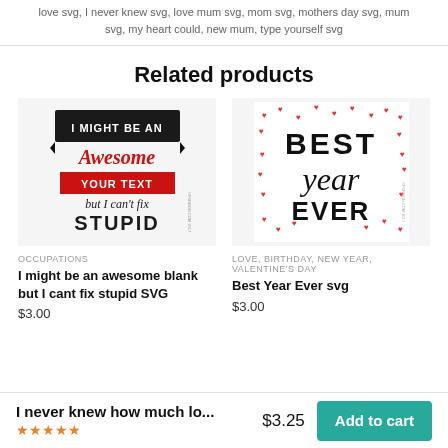love svg, I never knew svg, love mum svg, mom svg, mothers day svg, mum svg, my heart could, new mum, type yourself svg
Related products
[Figure (illustration): SVG design product: 'I MIGHT BE AN Awesome YOUR TEXT but I cant fix STUPID' in black and red typography]
OCCUPATIONS
I might be an awesome blank but I cant fix stupid SVG
$3.00
[Figure (illustration): SVG design product: 'Best Year Ever' in black script with red heart confetti scattered around]
LOVE, BIRTHDAY, NEW YEAR, VALENTINE'S DAY
Best Year Ever svg
$3.00
I never knew how much lo...
★★★★★
$3.25
Add to cart